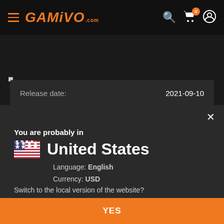[Figure (screenshot): GAMIVO.com website navigation bar with hamburger menu icon, orange GAMIVO logo, search icon, cart icon with badge '0', and user account icon on dark background]
| Release date: | 2021-09-10 |
| --- | --- |
DESCRIPTION
You are probably in
United States
Language: English
Currency: USD
Switch to the local version of the website?
YES